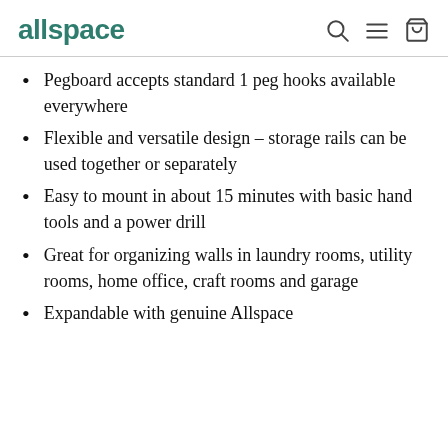allspace
Pegboard accepts standard 1 peg hooks available everywhere
Flexible and versatile design – storage rails can be used together or separately
Easy to mount in about 15 minutes with basic hand tools and a power drill
Great for organizing walls in laundry rooms, utility rooms, home office, craft rooms and garage
Expandable with genuine Allspace